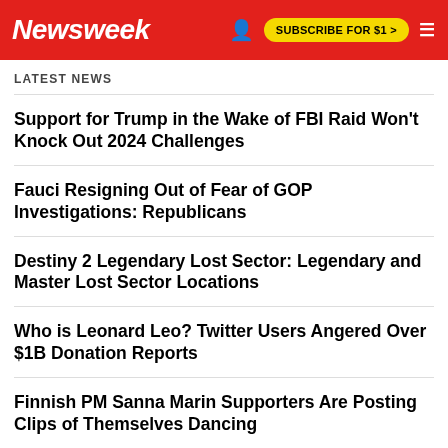Newsweek | SUBSCRIBE FOR $1 >
LATEST NEWS
Support for Trump in the Wake of FBI Raid Won't Knock Out 2024 Challenges
Fauci Resigning Out of Fear of GOP Investigations: Republicans
Destiny 2 Legendary Lost Sector: Legendary and Master Lost Sector Locations
Who is Leonard Leo? Twitter Users Angered Over $1B Donation Reports
Finnish PM Sanna Marin Supporters Are Posting Clips of Themselves Dancing
What's New in MoviePass Revamp as Service Returns